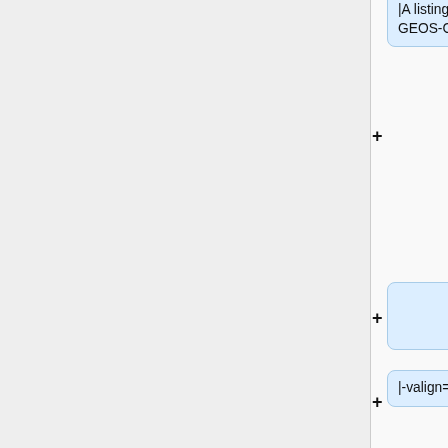[Figure (screenshot): Wiki editor interface showing a list of collapsible wiki markup blocks. Each block contains a '+' expand button and text content related to GEOS-Chem documentation entries, including species listings, support requests, and Github instructions.]